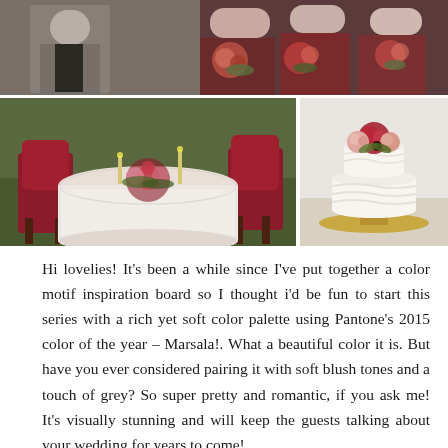[Figure (photo): Top collage of wedding photos: couple standing outdoors, bridesmaids in dark burgundy dresses holding floral bouquets]
[Figure (photo): Bottom-left photo: outdoor styled wedding table setting with lace tablecloth, deep red tufted chairs, and floral centerpiece on grass]
[Figure (photo): Bottom-right photo: white tiered wedding cake topped with blush pink and deep red flowers on a gold cake stand]
Hi lovelies! It's been a while since I've put together a color motif inspiration board so I thought i'd be fun to start this series with a rich yet soft color palette using Pantone's 2015 color of the year – Marsala!. What a beautiful color it is. But have you ever considered pairing it with soft blush tones and a touch of grey? So super pretty and romantic, if you ask me! It's visually stunning and will keep the guests talking about your wedding for years to come!